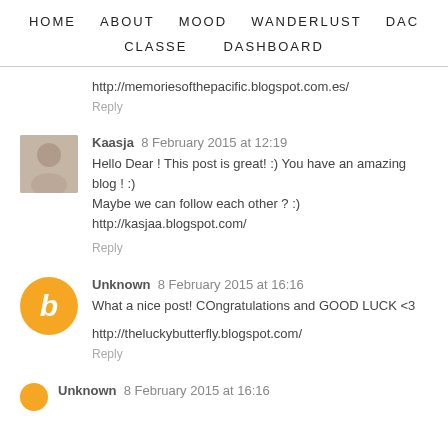HOME   ABOUT   MOOD   WANDERLUST   DAC   CLASSE   DASHBOARD
http://memoriesofthepacific.blogspot.com.es/
Reply
Kaasja  8 February 2015 at 12:19
Hello Dear ! This post is great! :) You have an amazing blog ! :) Maybe we can follow each other ? :) http://kasjaa.blogspot.com/
Reply
Unknown  8 February 2015 at 16:16
What a nice post! COngratulations and GOOD LUCK <3

http://theluckybutterfly.blogspot.com/
Reply
Unknown  8 February 2015 at 16:16